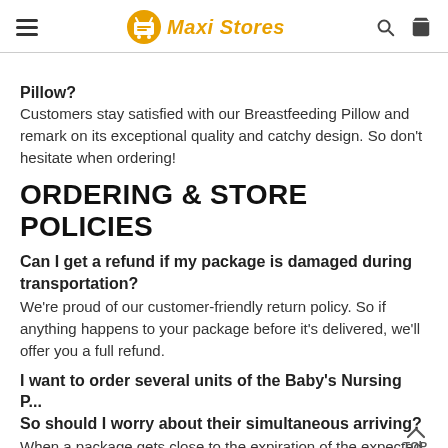Maxi Stores
Pillow?
Customers stay satisfied with our Breastfeeding Pillow and remark on its exceptional quality and catchy design. So don't hesitate when ordering!
ORDERING & STORE POLICIES
Can I get a refund if my package is damaged during transportation?
We're proud of our customer-friendly return policy. So if anything happens to your package before it's delivered, we'll offer you a full refund.
I want to order several units of the Baby's Nursing P... So should I worry about their simultaneous arriving?